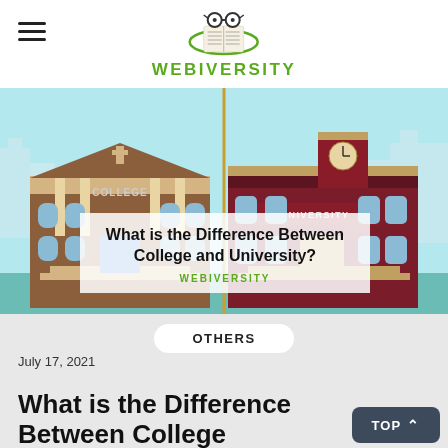[Figure (logo): Webiversity logo: open book with glasses icon above text WEBIVERSITY in green]
[Figure (illustration): Split illustration comparing a College building (brown, left) and University building (red/maroon, right) with light blue city skyline background. Overlay text reads 'What is the Difference Between College and University?' with WEBIVERSITY watermark in green.]
OTHERS
July 17, 2021
What is the Difference Between College